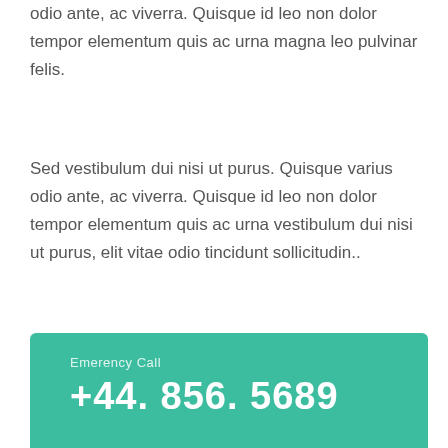odio ante, ac viverra. Quisque id leo non dolor tempor elementum quis ac urna magna leo pulvinar felis.
Sed vestibulum dui nisi ut purus. Quisque varius odio ante, ac viverra. Quisque id leo non dolor tempor elementum quis ac urna vestibulum dui nisi ut purus, elit vitae odio tincidunt sollicitudin..
Emerency Call
+44. 856. 5689